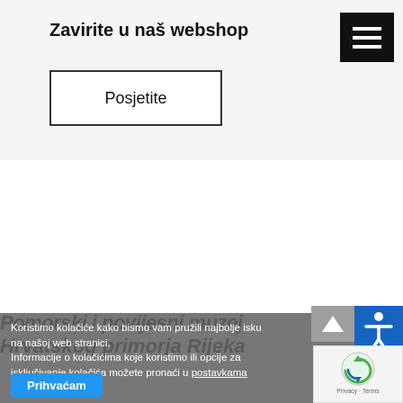Zavirite u naš webshop
[Figure (other): Hamburger menu icon button (three horizontal white lines on black background)]
Posjetite
Pomorski i povijesni muzej Hrvatskog primorja Rijeka
Koristimo kolačiće kako bismo vam pružili najbolje isku na našoj web stranici. Informacije o kolačićima koje koristimo ili opcije za isključivanje kolačića možete pronaći u postavkama
Prihvaćam